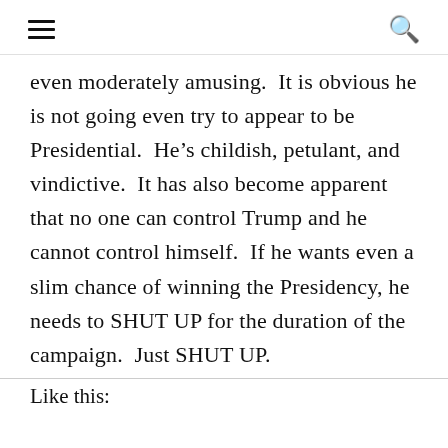≡  🔍
even moderately amusing.  It is obvious he is not going even try to appear to be Presidential.  He’s childish, petulant, and vindictive.  It has also become apparent that no one can control Trump and he cannot control himself.  If he wants even a slim chance of winning the Presidency, he needs to SHUT UP for the duration of the campaign.  Just SHUT UP.
Like this: